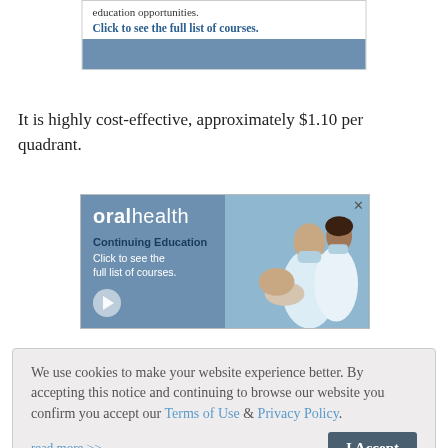[Figure (screenshot): Top portion of an oral health continuing education advertisement showing text 'education opportunities. Click to see the full list of courses.' with a blue banner below.]
It is highly cost-effective, approximately $1.10 per quadrant.
[Figure (screenshot): Oral health Continuing Education advertisement. Left side has blue background with 'oralhealth' logo, 'Continuing Education', 'Click to see the full list of courses.' text and a play button. Right side shows dental professionals working.]
We use cookies to make your website experience better. By accepting this notice and continuing to browse our website you confirm you accept our Terms of Use & Privacy Policy.
read more >>
I Accept